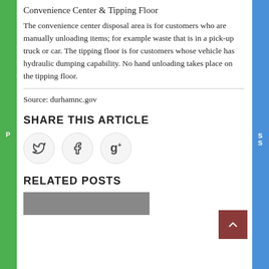Convenience Center & Tipping Floor
The convenience center disposal area is for customers who are manually unloading items; for example waste that is in a pick-up truck or car. The tipping floor is for customers whose vehicle has hydraulic dumping capability. No hand unloading takes place on the tipping floor.
Source: durhamnc.gov
SHARE THIS ARTICLE
[Figure (infographic): Three circular social media share buttons for Twitter, Facebook, and Google+]
RELATED POSTS
[Figure (photo): Partial thumbnail image of a related post at the bottom of the page]